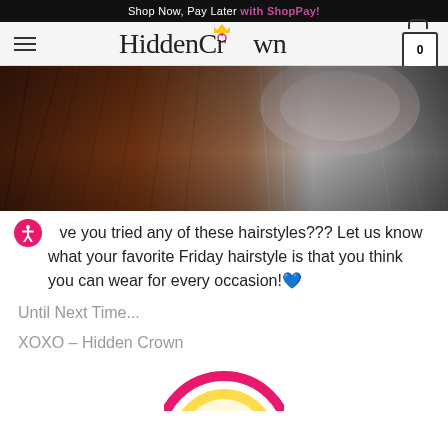Shop Now, Pay Later with ShopPay!
[Figure (screenshot): HiddenCrown website navigation header with hamburger menu, logo, and cart icon showing 0 items]
[Figure (photo): Close-up photo of hair showing brown and gray/dark tones, appears to be a before/after or split-tone hair image]
Have you tried any of these hairstyles??? Let us know what your favorite Friday hairstyle is that you think you can wear for every occasion!💙
Until Next Time...
XOXO – Hidden Crown
[Figure (logo): Partially visible circular logo with pink border at the bottom of the page]